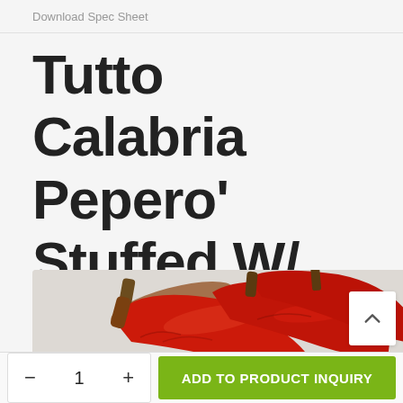Download Spec Sheet
Tutto Calabria Pepero' Stuffed W/ Tuna  9.8 oz.
[Figure (photo): Photo of red Calabrian chili peppers (Tutto Calabria product) on a light background]
- 1 +  ADD TO PRODUCT INQUIRY